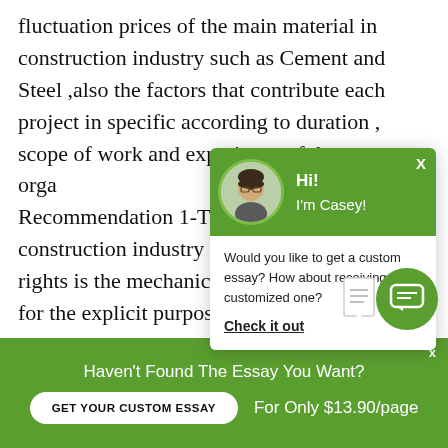fluctuation prices of the main material in construction industry such as Cement and Steel ,also the factors that contribute each project in specific according to duration , scope of work and experience of the orga… Recommendation 1-To… construction industry … rights is the mechanic… for the explicit purpos… and suppliers against a… In theory, if mechanics… used, those furnishing labor or material to a
[Figure (screenshot): Chat popup overlay with green header showing avatar of Casey, greeting 'Hi! I'm Casey!', message 'Would you like to get a custom essay? How about receiving a customized one?', and 'Check it out' link. Green chat bubble icon at bottom right.]
Haven't Found The Essay You Want?
GET YOUR CUSTOM ESSAY    For Only $13.90/page